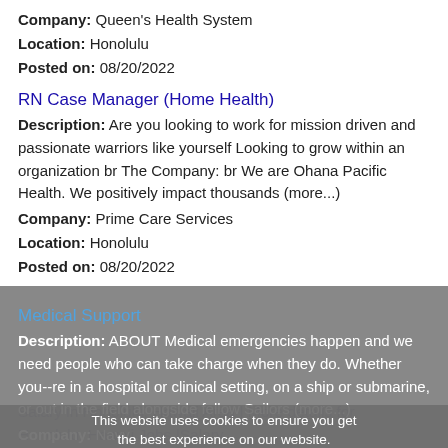Company: Queen's Health System
Location: Honolulu
Posted on: 08/20/2022
RN Case Manager (Home Health)
Description: Are you looking to work for mission driven and passionate warriors like yourself Looking to grow within an organization br The Company: br We are Ohana Pacific Health. We positively impact thousands (more...)
Company: Prime Care Services
Location: Honolulu
Posted on: 08/20/2022
Medical Support
Description: ABOUT Medical emergencies happen and we need people who can take charge when they do. Whether you--re in a hospital or clinical setting, on a ship or submarine, or out in the field alongside fellow Sailors (more...)
Company: Navy
Location: Waipahu
Posted on: 08/20/2022
This website uses cookies to ensure you get the best experience on our website.
Learn more
Got it!
Salary in Honolulu, Hawaii Area | More details for Honolulu, Hawaii Jobs |Salary